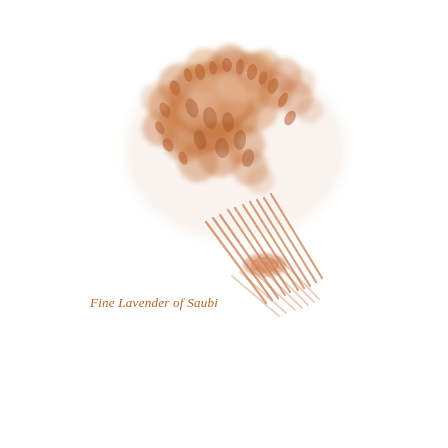[Figure (illustration): Watercolor-style illustration of a dried lavender bundle, rendered in warm terracotta/burnt-orange tones on white background. The bouquet of lavender stems is tied together and angled diagonally, with fluffy flower heads at the top left and stems extending to the lower right.]
Fine Lavender of Saubi